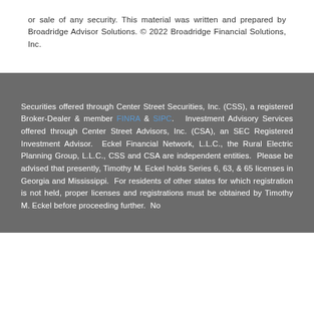or sale of any security. This material was written and prepared by Broadridge Advisor Solutions. © 2022 Broadridge Financial Solutions, Inc.
Securities offered through Center Street Securities, Inc. (CSS), a registered Broker-Dealer & member FINRA & SIPC.  Investment Advisory Services offered through Center Street Advisors, Inc. (CSA), an SEC Registered Investment Advisor.  Eckel Financial Network, L.L.C., the Rural Electric Planning Group, L.L.C., CSS and CSA are independent entities.  Please be advised that presently, Timothy M. Eckel holds Series 6, 63, & 65 licenses in Georgia and Mississippi.  For residents of other states for which registration is not held, proper licenses and registrations must be obtained by Timothy M. Eckel before proceeding further.  No